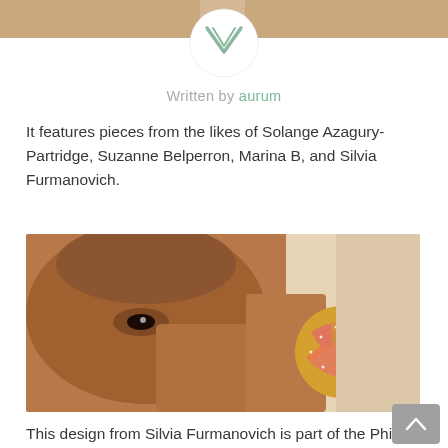[Figure (photo): Top portion of a photo showing a person's neck/chest area with a beige/cream background, partially cropped at top]
[Figure (logo): A circular logo with a geometric downward-pointing chevron/arrow shape in muted green/sage color on white circle background]
Written by aurum
It features pieces from the likes of Solange Azagury-Partridge, Suzanne Belperron, Marina B, and Silvia Furmanovich.
[Figure (photo): Close-up portrait of a Black woman holding her hand up near her face. On her hand sits a large ornate cocktail ring with interwoven coral/pink and gold bands studded with diamonds, creating a knot/rose pattern. Background is beige/cream.]
This design from Silvia Furmanovich is part of the Phillips